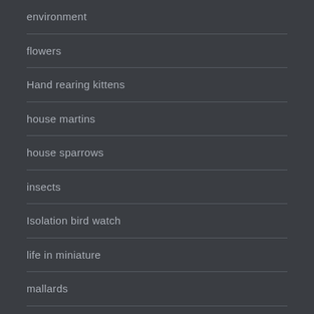environment
flowers
Hand rearing kittens
house martins
house sparrows
insects
Isolation bird watch
life in miniature
mallards
Mating/courtship
murmurations